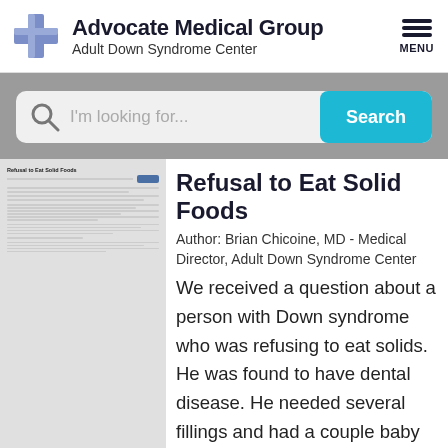[Figure (logo): Advocate Medical Group logo with blue cross icon and text 'Advocate Medical Group / Adult Down Syndrome Center', plus hamburger menu icon labeled MENU]
[Figure (screenshot): Search bar with magnifying glass icon, placeholder text 'I'm looking for...', and a cyan 'Search' button, on a gray background]
Refusal to Eat Solid Foods
Author: Brian Chicoine, MD - Medical Director, Adult Down Syndrome Center
We received a question about a person with Down syndrome who was refusing to eat solids. He was found to have dental disease. He needed several fillings and had a couple baby teeth removed. The dentis